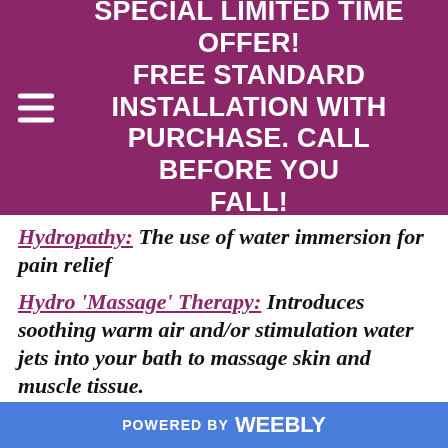SPECIAL LIMITED TIME OFFER! FREE STANDARD INSTALLATION WITH PURCHASE. CALL BEFORE YOU FALL!
Hydropathy: The use of water immersion for pain relief
Hydro 'Massage' Therapy: Introduces soothing warm air and/or stimulation water jets into your bath to massage skin and muscle tissue.
Mental Depression
POWERED BY weebly